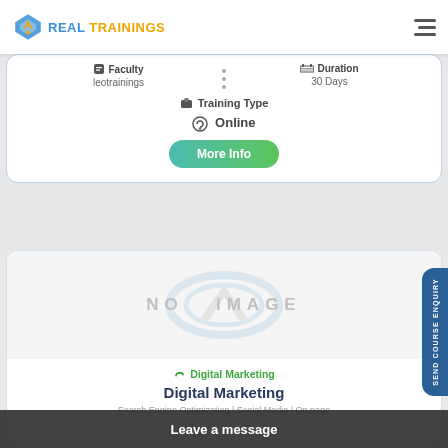REAL TRAININGS
Faculty: leotrainings | Duration: 30 Days
Training Type
Online
More Info
[Figure (other): No image placeholder with stylized G logo watermark]
Digital Marketing
Digital Marketing
Search Engine Optimization | Social Media | On page
Leave a message
SEND COURSE ENQUIRY